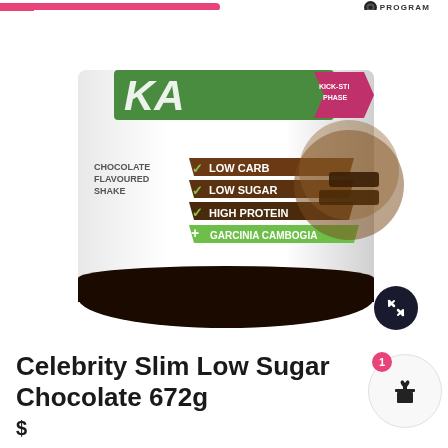PROGRAM
[Figure (photo): Celebrity Slim Low Sugar Chocolate 672g protein shake tub. Label shows: LOW CARB, LOW SUGAR, HIGH PROTEIN, + GARCINIA CAMBOGIA. KICK-START PHASE badge visible. Chocolate flavoured shake label on white tub with dark chocolate imagery.]
Celebrity Slim Low Sugar Chocolate 672g